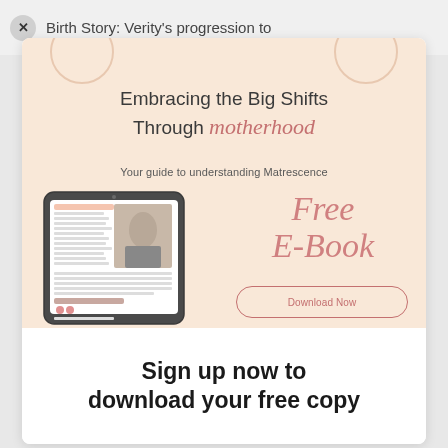Birth Story: Verity's progression to
[Figure (infographic): Promotional banner for a free e-book titled 'Embracing the Big Shifts Through motherhood — Your guide to understanding Matrescence', with a tablet mockup showing e-book cover and a 'Download Now' button, on a peach/beige background.]
Sign up now to download your free copy